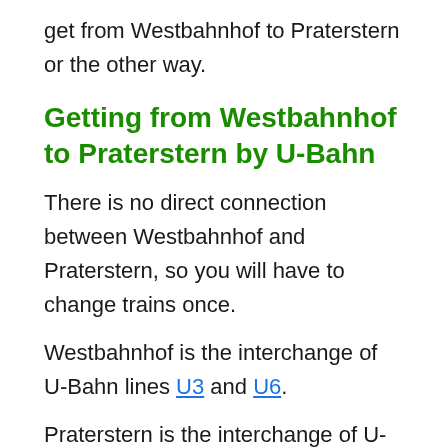get from Westbahnhof to Praterstern or the other way.
Getting from Westbahnhof to Praterstern by U-Bahn
There is no direct connection between Westbahnhof and Praterstern, so you will have to change trains once.
Westbahnhof is the interchange of U-Bahn lines U3 and U6.
Praterstern is the interchange of U-Bahn lines